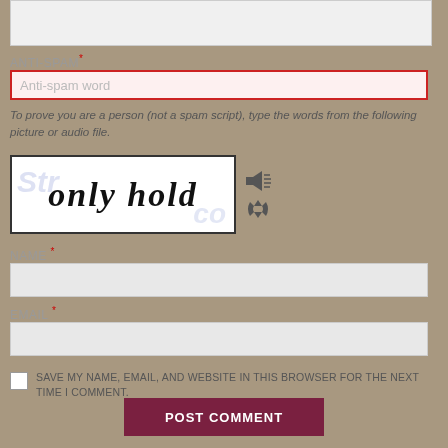[Figure (screenshot): Partially visible textarea input box at top]
ANTI-SPAM *
Anti-spam word
To prove you are a person (not a spam script), type the words from the following picture or audio file.
[Figure (other): CAPTCHA image showing the words 'only hold' with watermark and audio/refresh icons]
NAME *
EMAIL *
SAVE MY NAME, EMAIL, AND WEBSITE IN THIS BROWSER FOR THE NEXT TIME I COMMENT.
POST COMMENT